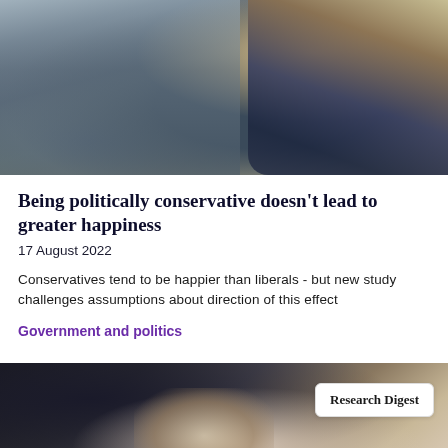[Figure (photo): Man in dark suit on phone, smiling, walking outdoors on busy street with blurred crowd in background]
Being politically conservative doesn't lead to greater happiness
17 August 2022
Conservatives tend to be happier than liberals - but new study challenges assumptions about direction of this effect
Government and politics
[Figure (photo): Person with head in hands appearing stressed, with Research Digest badge overlay in top right corner]